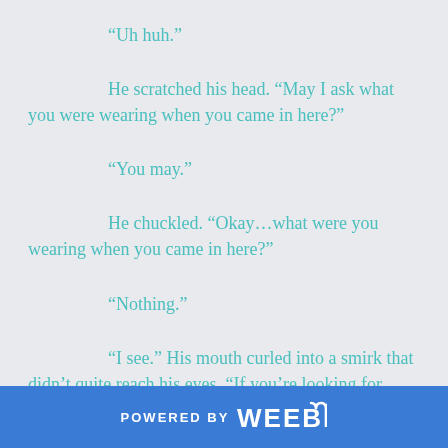“Uh huh.”
He scratched his head. “May I ask what you were wearing when you came in here?”
“You may.”
He chuckled. “Okay…what were you wearing when you came in here?”
“Nothing.”
“I see.” His mouth curled into a smirk that didn’t quite reach his eyes. “If you’re looking for trouble,
POWERED BY weebly